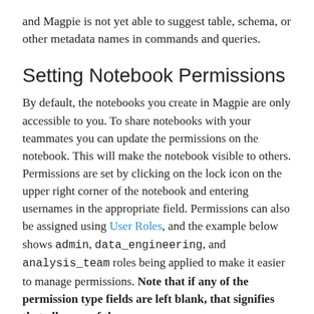and Magpie is not yet able to suggest table, schema, or other metadata names in commands and queries.
Setting Notebook Permissions
By default, the notebooks you create in Magpie are only accessible to you. To share notebooks with your teammates you can update the permissions on the notebook. This will make the notebook visible to others. Permissions are set by clicking on the lock icon on the upper right corner of the notebook and entering usernames in the appropriate field. Permissions can also be assigned using User Roles, and the example below shows admin, data_engineering, and analysis_team roles being applied to make it easier to manage permissions. Note that if any of the permission type fields are left blank, that signifies that all users of the